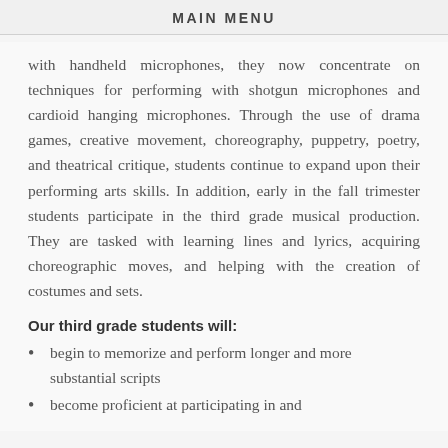MAIN MENU
with handheld microphones, they now concentrate on techniques for performing with shotgun microphones and cardioid hanging microphones. Through the use of drama games, creative movement, choreography, puppetry, poetry, and theatrical critique, students continue to expand upon their performing arts skills. In addition, early in the fall trimester students participate in the third grade musical production. They are tasked with learning lines and lyrics, acquiring choreographic moves, and helping with the creation of costumes and sets.
Our third grade students will:
begin to memorize and perform longer and more substantial scripts
become proficient at participating in and